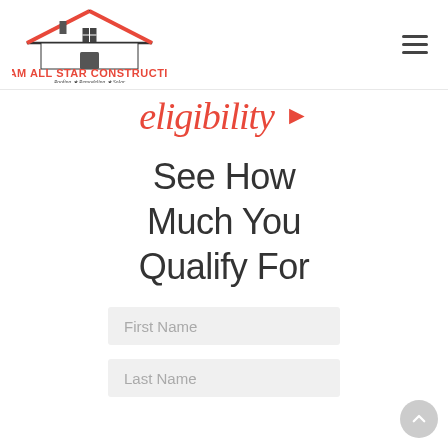Team All Star Construction — Roofing ★ Remodeling ★ Solar (logo + hamburger menu)
eligibility ▶
See How Much You Qualify For
First Name (form field placeholder)
Last Name (form field placeholder)